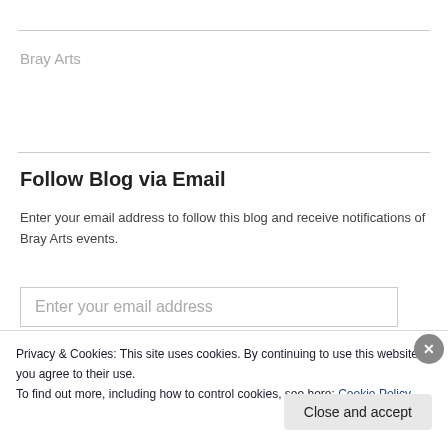Bray Arts
Follow Blog via Email
Enter your email address to follow this blog and receive notifications of Bray Arts events.
Enter your email address
Privacy & Cookies: This site uses cookies. By continuing to use this website, you agree to their use.
To find out more, including how to control cookies, see here: Cookie Policy
Close and accept